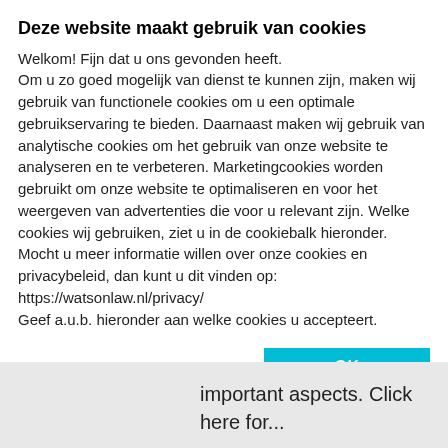Deze website maakt gebruik van cookies
Welkom! Fijn dat u ons gevonden heeft.
Om u zo goed mogelijk van dienst te kunnen zijn, maken wij gebruik van functionele cookies om u een optimale gebruikservaring te bieden. Daarnaast maken wij gebruik van analytische cookies om het gebruik van onze website te analyseren en te verbeteren. Marketingcookies worden gebruikt om onze website te optimaliseren en voor het weergeven van advertenties die voor u relevant zijn. Welke cookies wij gebruiken, ziet u in de cookiebalk hieronder. Mocht u meer informatie willen over onze cookies en privacybeleid, dan kunt u dit vinden op: https://watsonlaw.nl/privacy/
Geef a.u.b. hieronder aan welke cookies u accepteert.
OK
Noodzakelijk  Voorkeuren  Statistieken  Marketing  Details tonen
important aspects. Click here for...